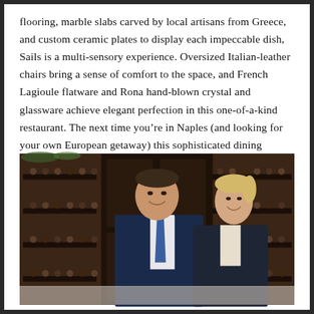flooring, marble slabs carved by local artisans from Greece, and custom ceramic plates to display each impeccable dish, Sails is a multi-sensory experience. Oversized Italian-leather chairs bring a sense of comfort to the space, and French Lagioule flatware and Rona hand-blown crystal and glassware achieve elegant perfection in this one-of-a-kind restaurant. The next time you're in Naples (and looking for your own European getaway) this sophisticated dining destination is a must-visit.
[Figure (photo): A man in a dark navy suit with a blue tie and a blonde woman in a dark blazer, both smiling, standing in front of dark wooden wine cabinet shelving stocked with bottles.]